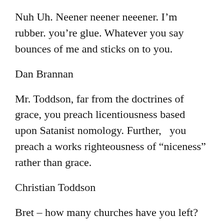Nuh Uh. Neener neener neeener. I'm rubber. you're glue. Whatever you say bounces of me and sticks on to you.
Dan Brannan
Mr. Toddson, far from the doctrines of grace, you preach licentiousness based upon Satanist nomology. Further,   you preach a works righteousness of “niceness” rather than grace.
Christian Toddson
Bret – how many churches have you left?
How many have you been asked to leave or told